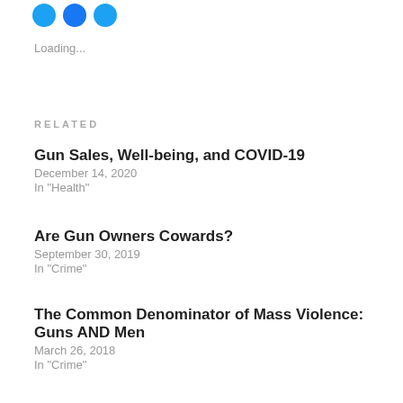[Figure (other): Three blue social media icon circles]
Loading...
RELATED
Gun Sales, Well-being, and COVID-19
December 14, 2020
In "Health"
Are Gun Owners Cowards?
September 30, 2019
In "Crime"
The Common Denominator of Mass Violence: Guns AND Men
March 26, 2018
In "Crime"